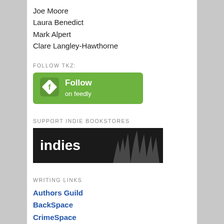Joe Moore
Laura Benedict
Mark Alpert
Clare Langley-Hawthorne
FOLLOW TKZ:
[Figure (logo): Green Follow on Feedly button with Feedly diamond icon]
SUPPORT INDIE BOOKSTORES
[Figure (logo): Indies bookstore dark banner with stylized grass graphic]
WRITING LINKS
Authors Guild
BackSpace
CrimeSpace
CrimeSpot
Criminal Minds